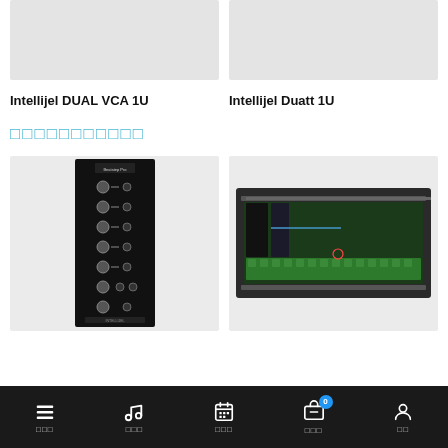[Figure (photo): Gray placeholder image box for Intellijel DUAL VCA 1U product]
[Figure (photo): Gray placeholder image box for Intellijel Duatt 1U product]
Intellijel DUAL VCA 1U
Intellijel Duatt 1U
□□□□□□□□□□□
[Figure (photo): Black eurorack module with knobs and patch points - Intellijel style module]
[Figure (photo): Black eurorack case with green PCB interior visible - rack enclosure]
□□□  □□□  □□□  □□□  □□